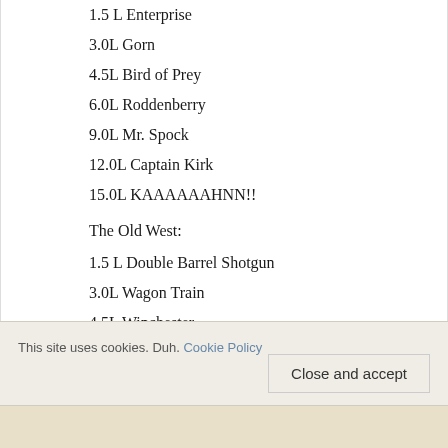1.5 L Enterprise
3.0L Gorn
4.5L Bird of Prey
6.0L Roddenberry
9.0L Mr. Spock
12.0L Captain Kirk
15.0L KAAAAAHNNN!!
The Old West:
1.5 L Double Barrel Shotgun
3.0L Wagon Train
4.5L Winchester
6.0L Six Shooter
9.0L Remington
12.0L Sheriff
This site uses cookies. Duh. Cookie Policy
Close and accept